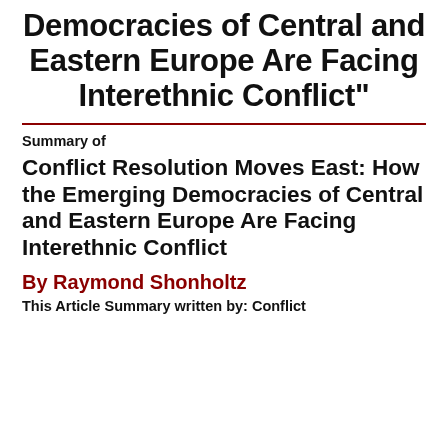Democracies of Central and Eastern Europe Are Facing Interethnic Conflict"
Summary of
Conflict Resolution Moves East: How the Emerging Democracies of Central and Eastern Europe Are Facing Interethnic Conflict
By Raymond Shonholtz
This Article Summary written by: Conflict